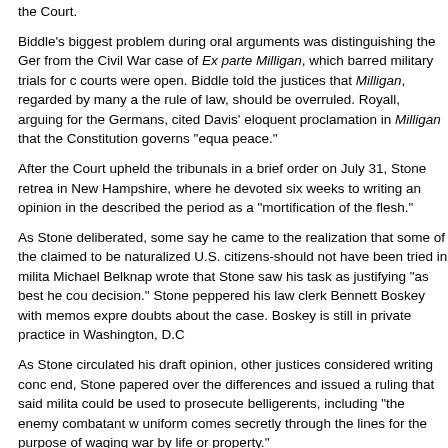the Court.
Biddle's biggest problem during oral arguments was distinguishing the German saboteurs from the Civil War case of Ex parte Milligan, which barred military trials for civilians when courts were open. Biddle told the justices that Milligan, regarded by many as a cornerstone of the rule of law, should be overruled. Royall, arguing for the Germans, cited Justice David Davis' eloquent proclamation in Milligan that the Constitution governs "equally in war and in peace."
After the Court upheld the tribunals in a brief order on July 31, Stone retreated to his home in New Hampshire, where he devoted six weeks to writing an opinion in the case. Stone later described the period as a "mortification of the flesh."
As Stone deliberated, some say he came to the realization that some of the defendants-who claimed to be naturalized U.S. citizens-should not have been tried in military tribunals. Historian Michael Belknap wrote that Stone saw his task as justifying "as best he could" the court's hasty decision. Stone peppered his law clerk Bennett Boskey with memos expressing his growing doubts about the case. Boskey is still in private practice in Washington, D.C.
As Stone circulated his draft opinion, other justices considered writing concurrences. In the end, Stone papered over the differences and issued a ruling that said military commissions could be used to prosecute belligerents, including "the enemy combatant who without uniform comes secretly through the lines for the purpose of waging war by destruction of life or property."
That language may be enough for the Bush administration to cite as justification for its controversial order. But with no formal declaration of war in the current terror conflict, lawyers for defendants may also find language in Quirin that they can exploit.
The decision only vaguely dealt with the Milligan precedent, and it implied that even saboteurs retain some constitutional rights. It avoided announcing clear rules.